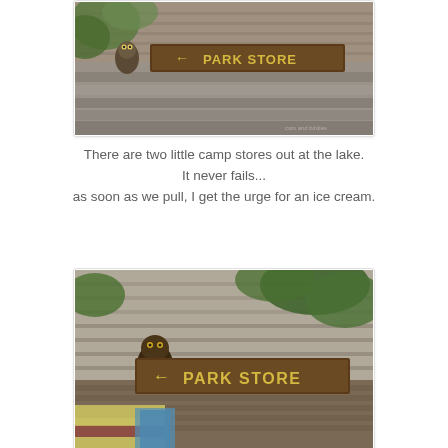[Figure (photo): Photo of a rustic wooden 'PARK STORE' sign with an arrow pointing left, mounted on stone steps with ferns and greenery in the background. A wooden owl or bird figure is visible on the left.]
There are two little camp stores out at the lake.
It never fails...
as soon as we pull, I get the urge for an ice cream.
[Figure (photo): A closer photo of the same rustic wooden 'PARK STORE' sign with an arrow pointing left, with green ivy and a wooden wall in the background. A colorful striped blanket (yellow, green, red) and a bear figurine are visible in the foreground.]